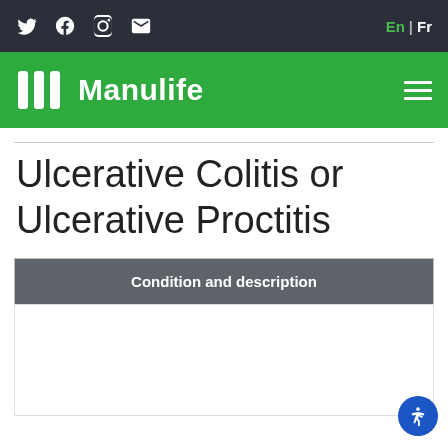Twitter, Facebook, Instagram, Email | En | Fr
[Figure (logo): Manulife logo with green background and hamburger menu icon]
Ulcerative Colitis or Ulcerative Proctitis
| Condition and description |
| --- |
|  |